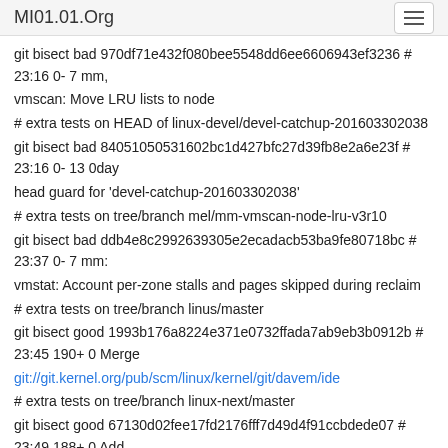MI01.01.Org
git bisect bad 970df71e432f080bee5548dd6ee6606943ef3236 # 23:16 0- 7 mm,
vmscan: Move LRU lists to node
# extra tests on HEAD of linux-devel/devel-catchup-201603302038
git bisect bad 840510505316​02bc1d427bfc27d39fb8e2a6e23f # 23:16 0- 13 0day
head guard for 'devel-catchup-201603302038'
# extra tests on tree/branch mel/mm-vmscan-node-lru-v3r10
git bisect bad ddb4e8c2992639305e2ecadacb53ba9fe80718bc # 23:37 0- 7 mm:
vmstat: Account per-zone stalls and pages skipped during reclaim
# extra tests on tree/branch linus/master
git bisect good 1993b176a8224e371e0732ffada7ab9eb3b0912b # 23:45 190+ 0 Merge
git://git.kernel.org/pub/scm/linux/kernel/git/davem/ide
# extra tests on tree/branch linux-next/master
git bisect good 67130d02fee17fd2176fff7d49d4f91ccbdede07 # 23:49 188+ 0 Add
linux-next specific files for 20160330